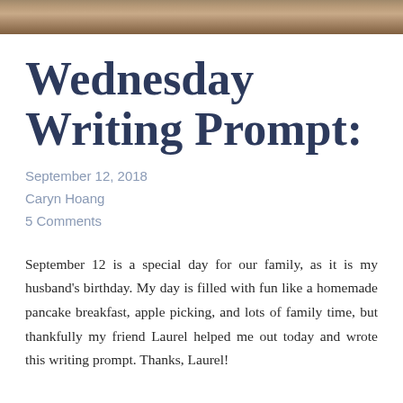[Figure (photo): Decorative banner photo at top of page showing a brown earthy/wood texture background]
Wednesday Writing Prompt:
September 12, 2018
Caryn Hoang
5 Comments
September 12 is a special day for our family, as it is my husband's birthday. My day is filled with fun like a homemade pancake breakfast, apple picking, and lots of family time, but thankfully my friend Laurel helped me out today and wrote this writing prompt. Thanks, Laurel!